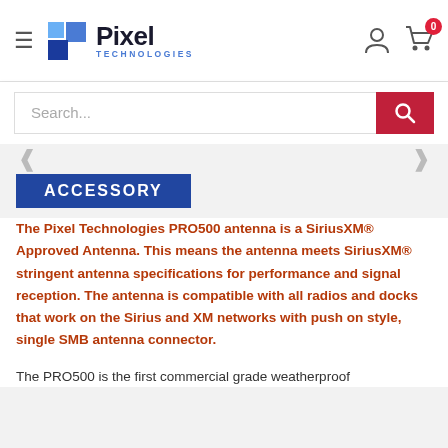Pixel Technologies
[Figure (logo): Pixel Technologies logo with blue pixel grid icon, bold Pixel text, and TECHNOLOGIES subtitle in blue]
[Figure (screenshot): Search bar with placeholder 'Search...' and red search button]
ACCESSORY
The Pixel Technologies PRO500 antenna is a SiriusXM® Approved Antenna. This means the antenna meets SiriusXM® stringent antenna specifications for performance and signal reception. The antenna is compatible with all radios and docks that work on the Sirius and XM networks with push on style, single SMB antenna connector.
The PRO500 is the first commercial grade weatherproof